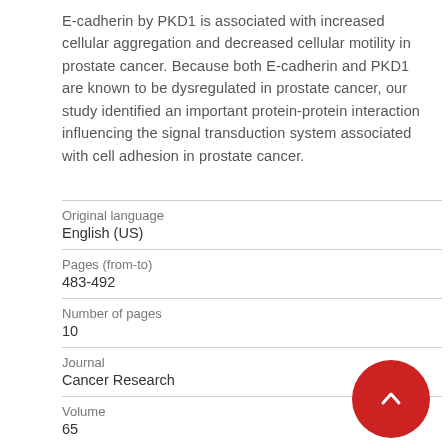E-cadherin by PKD1 is associated with increased cellular aggregation and decreased cellular motility in prostate cancer. Because both E-cadherin and PKD1 are known to be dysregulated in prostate cancer, our study identified an important protein-protein interaction influencing the signal transduction system associated with cell adhesion in prostate cancer.
| Field | Value |
| --- | --- |
| Original language | English (US) |
| Pages (from-to) | 483-492 |
| Number of pages | 10 |
| Journal | Cancer Research |
| Volume | 65 |